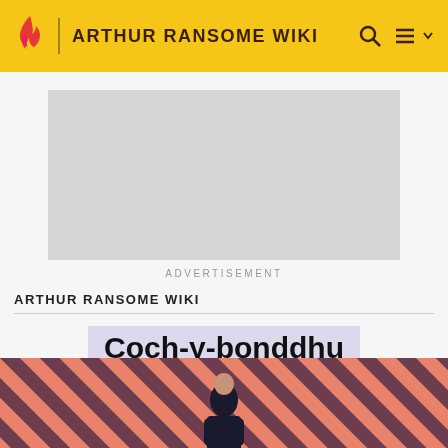ARTHUR RANSOME WIKI
[Figure (screenshot): Advertisement placeholder — grey rectangle]
ADVERTISEMENT
ARTHUR RANSOME WIKI
Coch-y-bonddhu
EDIT
[Figure (photo): Diagonal coral/salmon and dark purple striped banner with a person figure at bottom center]